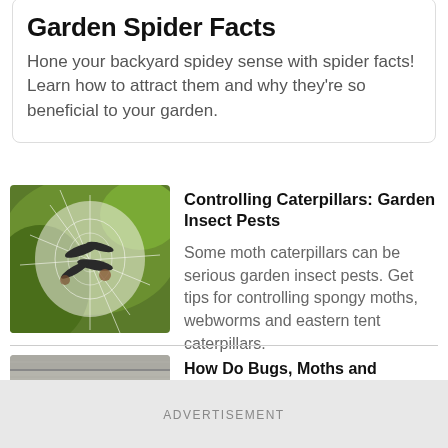Garden Spider Facts
Hone your backyard spidey sense with spider facts! Learn how to attract them and why they're so beneficial to your garden.
[Figure (photo): Close-up photo of moth caterpillars in a white web nest on green leaves]
Controlling Caterpillars: Garden Insect Pests
Some moth caterpillars can be serious garden insect pests. Get tips for controlling spongy moths, webworms and eastern tent caterpillars.
[Figure (photo): Photo of weathered gray wooden planks]
How Do Bugs, Moths and Butterflies Hibernate?
ADVERTISEMENT